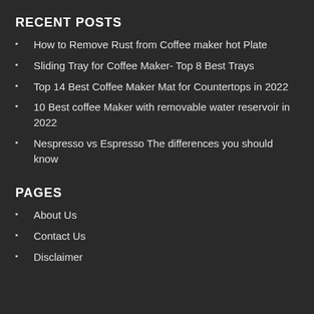RECENT POSTS
How to Remove Rust from Coffee maker hot Plate
Sliding Tray for Coffee Maker- Top 8 Best Trays
Top 14 Best Coffee Maker Mat for Countertops in 2022
10 Best coffee Maker with removable water reservoir in 2022
Nespresso vs Espresso The differences you should know
PAGES
About Us
Contact Us
Disclaimer